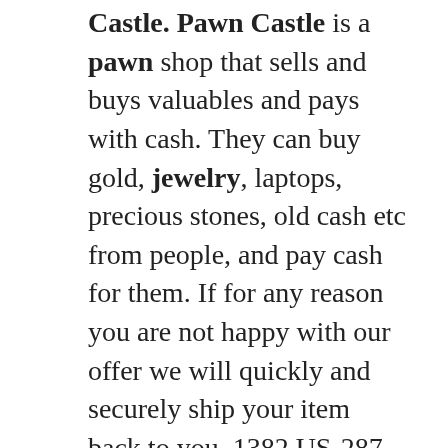Castle. Pawn Castle is a pawn shop that sells and buys valuables and pays with cash. They can buy gold, jewelry, laptops, precious stones, old cash etc from people, and pay cash for them. If for any reason you are not happy with our offer we will quickly and securely ship your item back to you. 1382 US-287, Broomfield, CO 80020 | +1 (303) 325–3076 | info@jewelryandcoinbanc.com. We buy and offer collateral loans on gold & silver bullion, rare coins, paper money, diamonds, high-end watches and other precious metals. The Castle Jewelry and Pawn - Beechmont Ave located in Cincinnati, OH Phone#: (513) 407-8946 - Check them out for DEALS and to get a loan. ... The Castle Jewelry with 11 retail locations is Kentucky and Ohio's largest discounter of diamonds, fine jewelry and pre-owned Rolex watches. Step 4: Calculate Value. Once you know